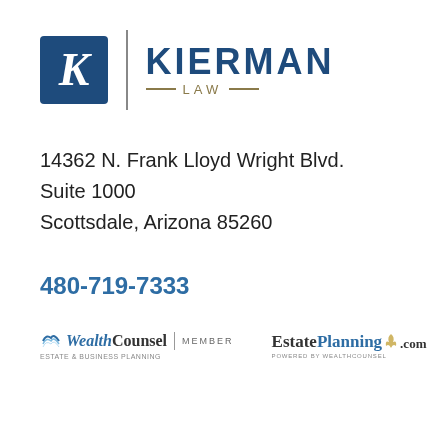[Figure (logo): Kierman Law logo with blue K in a box, vertical divider, and KIERMAN LAW text]
14362 N. Frank Lloyd Wright Blvd.
Suite 1000
Scottsdale, Arizona 85260
480-719-7333
[Figure (logo): WealthCounsel MEMBER logo with wave icon and tagline]
[Figure (logo): EstatePlanning.com logo powered by WealthCounsel]